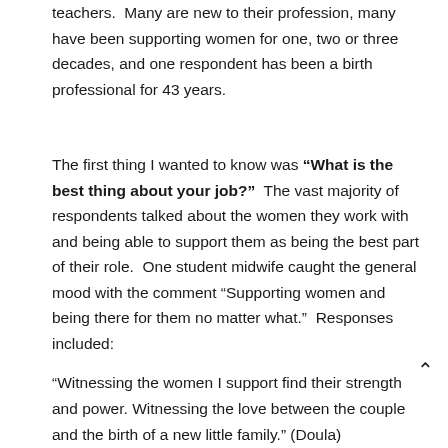teachers.  Many are new to their profession, many have been supporting women for one, two or three decades, and one respondent has been a birth professional for 43 years.
The first thing I wanted to know was "What is the best thing about your job?"  The vast majority of respondents talked about the women they work with and being able to support them as being the best part of their role.  One student midwife caught the general mood with the comment "Supporting women and being there for them no matter what."  Responses included:
“Witnessing the women I support find their strength and power. Witnessing the love between the couple and the birth of a new little family.” (Doula)